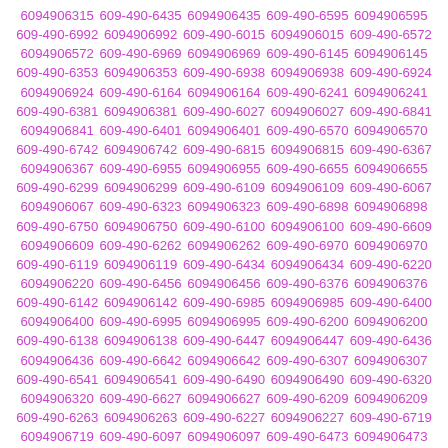6094906315 609-490-6435 6094906435 609-490-6595 6094906595 609-490-6992 6094906992 609-490-6015 6094906015 609-490-6572 6094906572 609-490-6969 6094906969 609-490-6145 6094906145 609-490-6353 6094906353 609-490-6938 6094906938 609-490-6924 6094906924 609-490-6164 6094906164 609-490-6241 6094906241 609-490-6381 6094906381 609-490-6027 6094906027 609-490-6841 6094906841 609-490-6401 6094906401 609-490-6570 6094906570 609-490-6742 6094906742 609-490-6815 6094906815 609-490-6367 6094906367 609-490-6955 6094906955 609-490-6655 6094906655 609-490-6299 6094906299 609-490-6109 6094906109 609-490-6067 6094906067 609-490-6323 6094906323 609-490-6898 6094906898 609-490-6750 6094906750 609-490-6100 6094906100 609-490-6609 6094906609 609-490-6262 6094906262 609-490-6970 6094906970 609-490-6119 6094906119 609-490-6434 6094906434 609-490-6220 6094906220 609-490-6456 6094906456 609-490-6376 6094906376 609-490-6142 6094906142 609-490-6985 6094906985 609-490-6400 6094906400 609-490-6995 6094906995 609-490-6200 6094906200 609-490-6138 6094906138 609-490-6447 6094906447 609-490-6436 6094906436 609-490-6642 6094906642 609-490-6307 6094906307 609-490-6541 6094906541 609-490-6490 6094906490 609-490-6320 6094906320 609-490-6627 6094906627 609-490-6209 6094906209 609-490-6263 6094906263 609-490-6227 6094906227 609-490-6719 6094906719 609-490-6097 6094906097 609-490-6473 6094906473 609-490-6408 6094906408 609-490-6474 6094906474 609-490-6047 6094906047 609-490-6508 6094906508 609-490-6176 6094906176